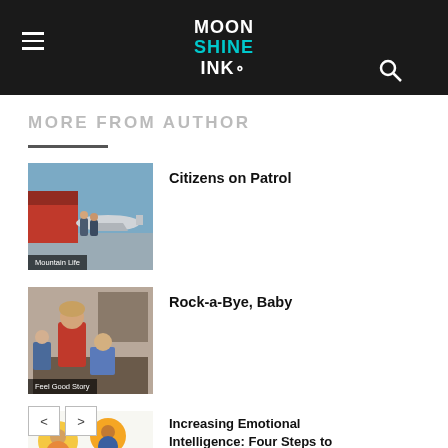Moon Shine Ink — navigation header with hamburger menu and search icon
MORE FROM AUTHOR
[Figure (photo): Two people standing near a small aircraft on a tarmac with red building in background. Category label: Mountain Life.]
Citizens on Patrol
[Figure (photo): Woman in red top sitting with two young children. Category label: Feel Good Story.]
Rock-a-Bye, Baby
[Figure (illustration): Colorful cartoon illustration of diverse people faces in circles with green leaves. Category label: Mountain Life.]
Increasing Emotional Intelligence: Four Steps to Improving Life Satisfaction
< >